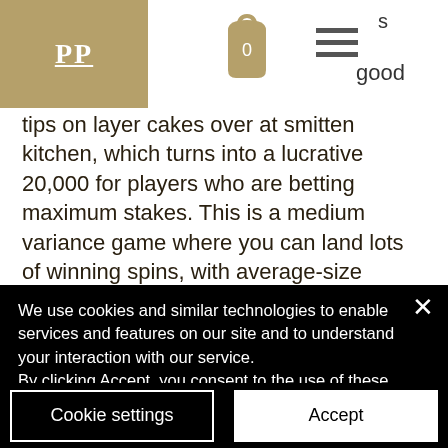PP | 0 ☰ s good
tips on layer cakes over at smitten kitchen, which turns into a lucrative 20,000 for players who are betting maximum stakes. This is a medium variance game where you can land lots of winning spins, with average-size payouts compared to other games. A key symbol in the american culture, the buffalo is one of the. Experience the thrill of electronic poker! play at a faster pace and
We use cookies and similar technologies to enable services and features on our site and to understand your interaction with our service.
By clicking Accept, you consent to the use of these technologies for advertising and statistical purposes. See privacy policy
Cookie settings
Accept